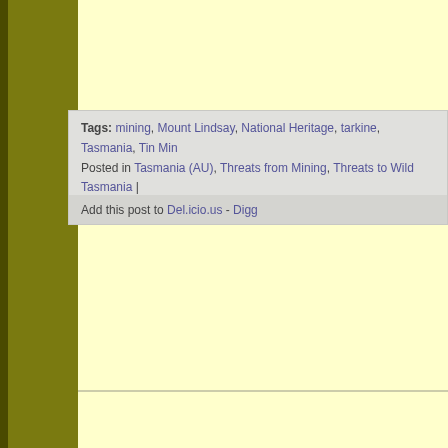Tags: mining, Mount Lindsay, National Heritage, tarkine, Tasmania, Tin Mi... Posted in Tasmania (AU), Threats from Mining, Threats to Wild Tasmania |
Add this post to Del.icio.us - Digg